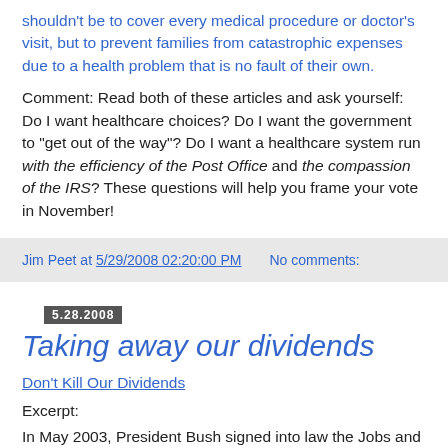shouldn't be to cover every medical procedure or doctor's visit, but to prevent families from catastrophic expenses due to a health problem that is no fault of their own.
Comment: Read both of these articles and ask yourself: Do I want healthcare choices? Do I want the government to "get out of the way"? Do I want a healthcare system run with the efficiency of the Post Office and the compassion of the IRS? These questions will help you frame your vote in November!
Jim Peet at 5/29/2008 02:20:00 PM   No comments:
5.28.2008
Taking away our dividends
Don't Kill Our Dividends
Excerpt:
In May 2003, President Bush signed into law the Jobs and Growth...